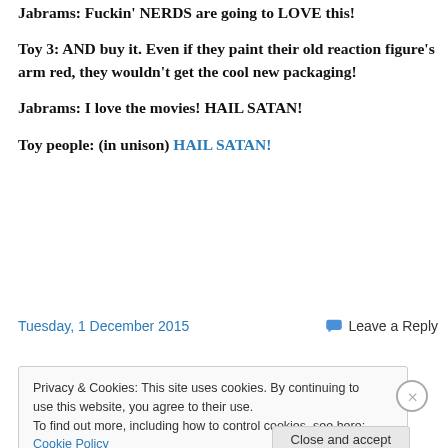Jabrams: Fuckin' NERDS are going to LOVE this!
Toy 3: AND buy it. Even if they paint their old reaction figure's arm red, they wouldn't get the cool new packaging!
Jabrams: I love the movies! HAIL SATAN!
Toy people: (in unison) HAIL SATAN!
Tuesday, 1 December 2015   Leave a Reply
Privacy & Cookies: This site uses cookies. By continuing to use this website, you agree to their use. To find out more, including how to control cookies, see here: Cookie Policy